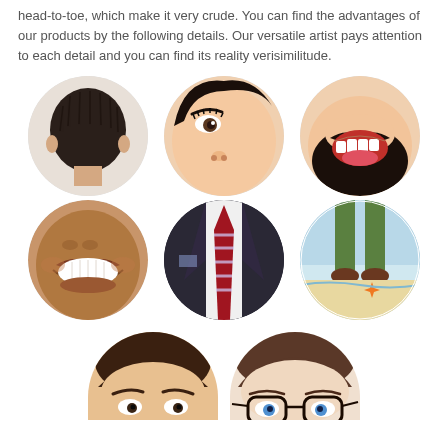head-to-toe, which make it very crude. You can find the advantages of our products by the following details. Our versatile artist pays attention to each detail and you can find its reality verisimilitude.
[Figure (photo): Grid of circular close-up photos of custom figurine details: row 1 shows back of head with dark hair, face close-up with eyelashes and nose, laughing mouth with beard; row 2 shows smiling mouth and teeth of dark-skinned figure, striped tie close-up, legs/feet on beach scene; row 3 shows two partial circles of figurine heads, one male face and one with glasses]